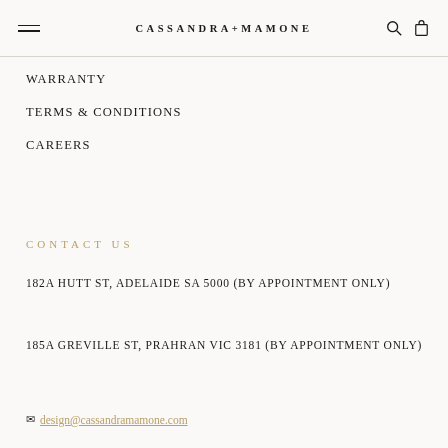CASSANDRA+MAMONE
WARRANTY
TERMS & CONDITIONS
CAREERS
CONTACT US
182A HUTT ST, ADELAIDE SA 5000 (BY APPOINTMENT ONLY)
185A GREVILLE ST, PRAHRAN VIC 3181 (BY APPOINTMENT ONLY)
design@cassandramamone.com